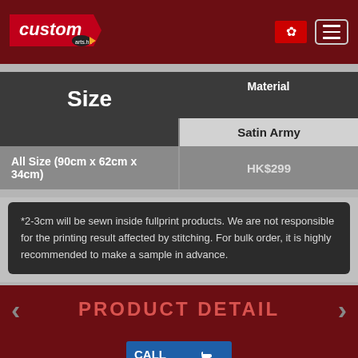custom [logo] | HK flag | menu
| Size | Material / Satin Army |
| --- | --- |
| All Size (90cm x 62cm x 34cm) | HK$299 |
*2-3cm will be sewn inside fullprint products. We are not responsible for the printing result affected by stitching. For bulk order, it is highly recommended to make a sample in advance.
PRODUCT DETAIL
CALL NOW | WhatsApp